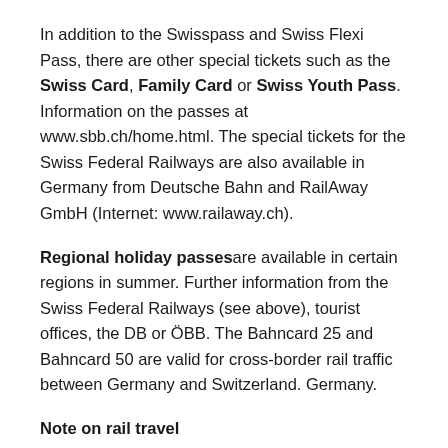In addition to the Swisspass and Swiss Flexi Pass, there are other special tickets such as the Swiss Card, Family Card or Swiss Youth Pass. Information on the passes at www.sbb.ch/home.html. The special tickets for the Swiss Federal Railways are also available in Germany from Deutsche Bahn and RailAway GmbH (Internet: www.railaway.ch).
Regional holiday passes are available in certain regions in summer. Further information from the Swiss Federal Railways (see above), tourist offices, the DB or ÖBB. The Bahncard 25 and Bahncard 50 are valid for cross-border rail traffic between Germany and Switzerland. Germany.
Note on rail travel
At more than 130 train stations in Switzerland, including the train stations in Zurich Altstetten, Bülach, Weinfelden, Thalwil, Wetzikon, Bern Wankdorf and Burgdorf, travelers